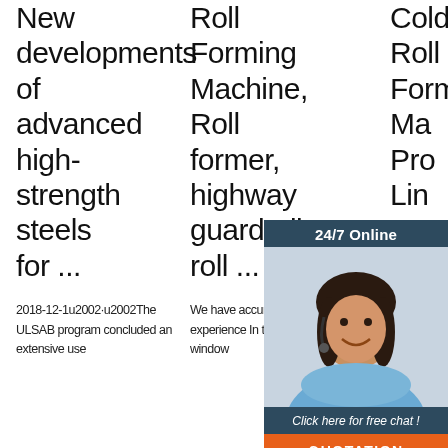New developments of advanced high-strength steels for ...
Roll Forming Machine, Roll former, highway guardrail roll ...
Cold Roll Forming Machine, Production Line Equipment ...
[Figure (infographic): 24/7 online chat widget with customer service representative photo, 'Click here for free chat!' text, and orange QUOTATION button]
2018-12-1u2002·u2002The ULSAB program concluded an extensive use
We have accumulated a wealth of experience In the door frame and window
Cold forming is a material saving, energy saving, efficient metal sheet
[Figure (logo): Orange TOP badge/logo with triangle shape]